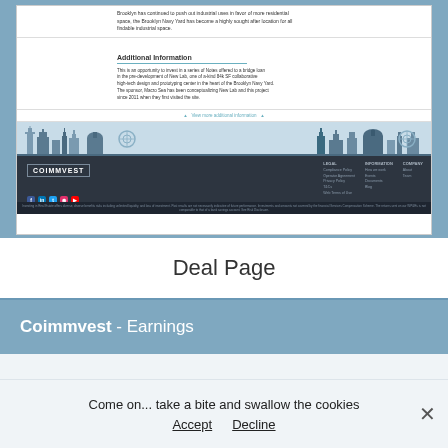[Figure (screenshot): Screenshot of Coimmvest website deal page showing Additional Information section with text about New Lab development in Brooklyn Navy Yard, a 'View more additional information' link, a city skyline illustration, and a dark footer with logo, navigation columns (Legal, Information, Company), social media icons, address, and copyright notice.]
Deal Page
Coimmvest - Earnings
Come on... take a bite and swallow the cookies
Accept   Decline